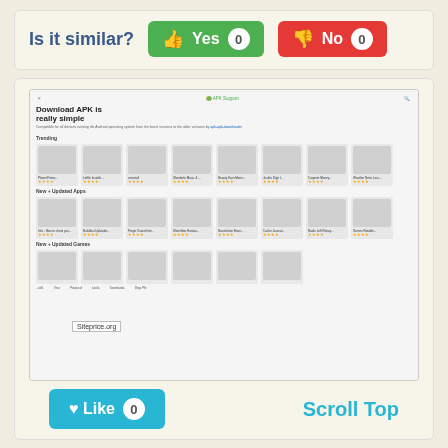Is it similar?
Yes 0
No 0
[Figure (screenshot): Screenshot of apk.support website showing 'Download APK is really simple' heading with app grids showing Trending and New + Updated Apps sections, with Siteprice.org watermark]
Like 0
Scroll Top
apk.support
apk support: download apk free - really simple download apk and obb data for your android phone,